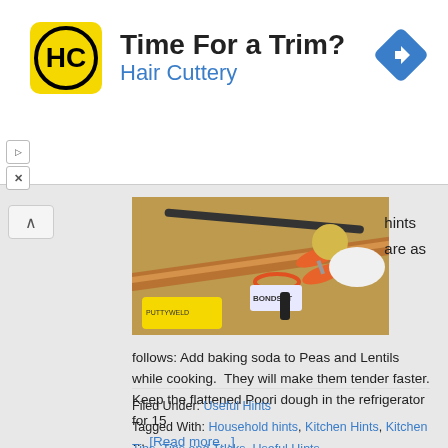[Figure (logo): Hair Cuttery ad banner with yellow logo, 'Time For a Trim?' headline, 'Hair Cuttery' subtitle in blue, and blue navigation diamond icon top right]
[Figure (photo): Photo of kitchen/craft tools laid on a wooden surface including copper pipe, scissors, rubber bands, lemon, white cloth, and various small items]
hints are as
follows: Add baking soda to Peas and Lentils while cooking.  They will make them tender faster. Keep the flattened Poori dough in the refrigerator for 15 … [Read more...]
Filed Under: Useful Hints
Tagged With: Household hints, Kitchen Hints, Kitchen Tips, Tips and Tricks, Useful Hints